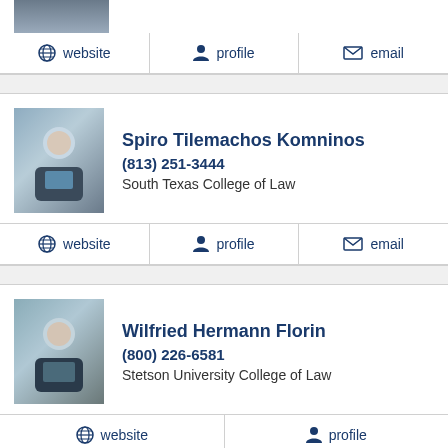[Figure (photo): Partial photo of a person at top of page (cropped, only lower portion visible)]
website   profile   email
Spiro Tilemachos Komninos
(813) 251-3444
South Texas College of Law
website   profile   email
Wilfried Hermann Florin
(800) 226-6581
Stetson University College of Law
website   profile